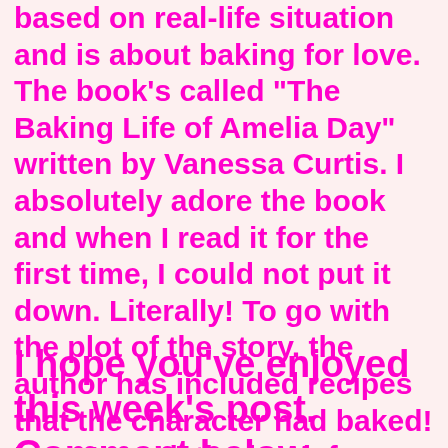based on real-life situation and is about baking for love. The book's called "The Baking Life of Amelia Day" written by Vanessa Curtis. I absolutely adore the book and when I read it for the first time, I could not put it down. Literally! To go with the plot of the story, the author has included recipes that the character had baked! I won't spoil the book for those who haven't read it but...it's a touching story.
I hope you've enjoyed this week's post. Comment below